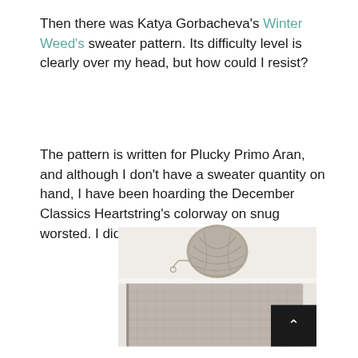Then there was Katya Gorbacheva's Winter Weed's sweater pattern.  Its difficulty level is clearly over my head, but how could I resist?
The pattern is written for Plucky Primo Aran, and although I don't have a sweater quantity on hand, I have been hoarding the December Classics Heartstring's colorway on snug worsted.  I didn't get gauge on my first try.
[Figure (photo): A ball of grey yarn sitting on a white surface above a swatch of knitted grey fabric in a stockinette-like stitch, with a black scroll-to-top button in the lower right corner.]